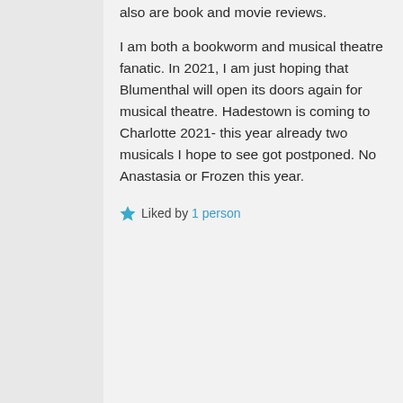also are book and movie reviews.
I am both a bookworm and musical theatre fanatic. In 2021, I am just hoping that Blumenthal will open its doors again for musical theatre. Hadestown is coming to Charlotte 2021- this year already two musicals I hope to see got postponed. No Anastasia or Frozen this year.
Liked by 1 person